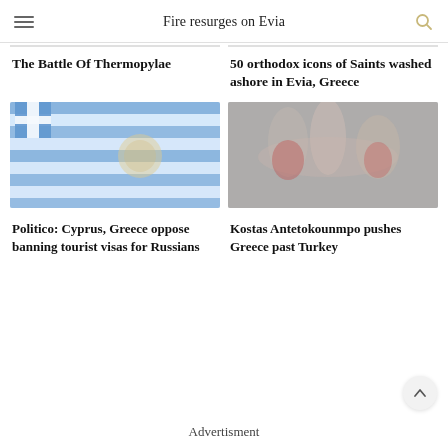Fire resurges on Evia
The Battle Of Thermopylae
50 orthodox icons of Saints washed ashore in Evia, Greece
[Figure (photo): Blurry image of a Greek flag waving]
[Figure (photo): Blurry action photo of basketball players, appears to show Kostas Antetokounmpo]
Politico: Cyprus, Greece oppose banning tourist visas for Russians
Kostas Antetokounmpo pushes Greece past Turkey
Advertisment